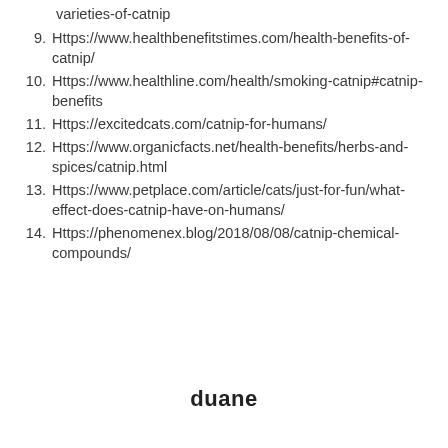varieties-of-catnip
9. Https://www.healthbenefitstimes.com/health-benefits-of-catnip/
10. Https://www.healthline.com/health/smoking-catnip#catnip-benefits
11. Https://excitedcats.com/catnip-for-humans/
12. Https://www.organicfacts.net/health-benefits/herbs-and-spices/catnip.html
13. Https://www.petplace.com/article/cats/just-for-fun/what-effect-does-catnip-have-on-humans/
14. Https://phenomenex.blog/2018/08/08/catnip-chemical-compounds/
duane